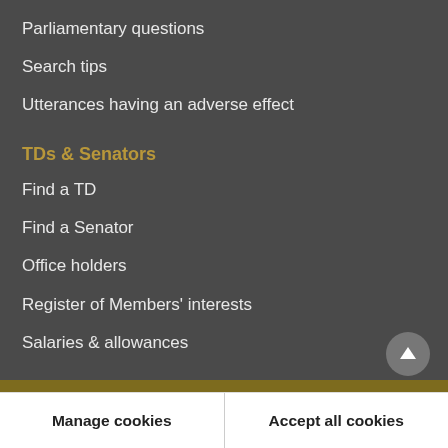Parliamentary questions
Search tips
Utterances having an adverse effect
TDs & Senators
Find a TD
Find a Senator
Office holders
Register of Members' interests
Salaries & allowances
Cookies on oireachtas.ie
We use cookies to ensure our website works well. We'd like to use analytics and functionality cookies to help us improve it but we require your consent to do so. If you don't consent, only necessary cookies will be used. Read more about our cookies
Manage cookies
Accept all cookies